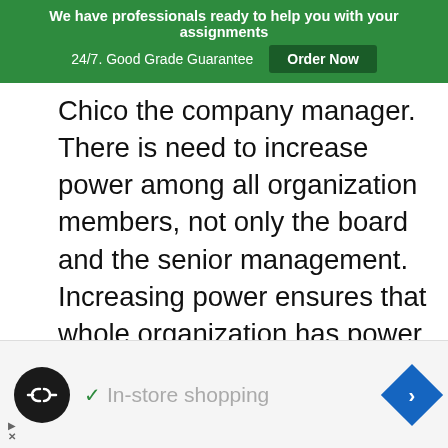We have professionals ready to help you with your assignments 24/7. Good Grade Guarantee Order Now
Chico the company manager. There is need to increase power among all organization members, not only the board and the senior management. Increasing power ensures that whole organization has power, thus creating a win-win situation.
Share with your friends
[Figure (infographic): Row of social media share icon buttons: Facebook (blue), Twitter (light blue), Pinterest (red), Mix (orange), WhatsApp (green), Minds (dark blue), Email (olive green), Tumblr (dark slate), Blogger (dark circle), and a down-chevron gray button]
[Figure (infographic): Advertisement bar with a black circle logo with double-arrow icon, a green checkmark followed by 'In-store shopping' in gray text, and a blue diamond-shaped navigation icon on the right. Bottom-left shows ad disclosure arrows and X symbol.]